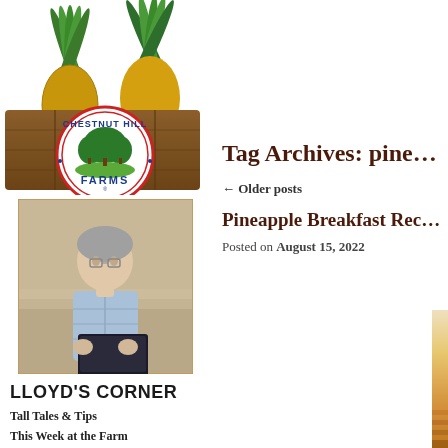[Figure (logo): Chestnut Hill Farms logo on a wooden crate with pineapples on top. Circular badge with red double ring, green trees, text 'CHESTNUT HILL FARMS']
[Figure (photo): Middle-aged man with gray hair and glasses, wearing a light blue plaid shirt, seated outdoors with a laptop, pineapple field in background]
LLOYD'S CORNER
Tall Tales & Tips
This Week at the Farm
Tag Archives: pine…
← Older posts
Pineapple Breakfast Rec…
Posted on August 15, 2022
[Figure (photo): Warm golden/orange sunset or pineapple field photo, partially visible at bottom right of page]